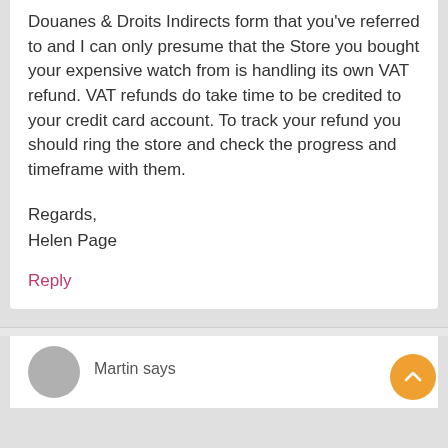Douanes & Droits Indirects form that you've referred to and I can only presume that the Store you bought your expensive watch from is handling its own VAT refund. VAT refunds do take time to be credited to your credit card account. To track your refund you should ring the store and check the progress and timeframe with them.
Regards,
Helen Page
Reply
Martin says